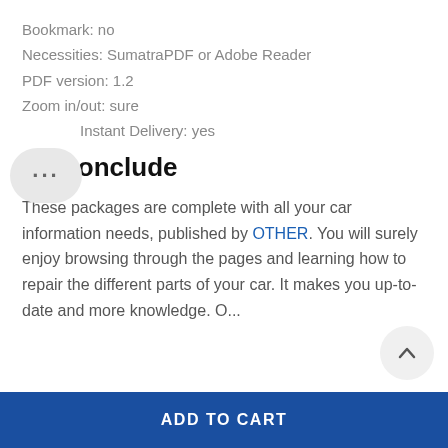Bookmark: no
Necessities: SumatraPDF or Adobe Reader
PDF version: 1.2
Zoom in/out: sure
Instant Delivery: yes
To Conclude
These packages are complete with all your car information needs, published by OTHER. You will surely enjoy browsing through the pages and learning how to repair the different parts of your car. It makes you up-to-date and more knowledge. O...
ADD TO CART